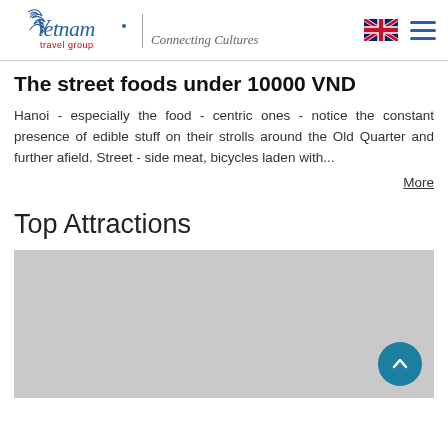Vietnam travel group — Connecting Cultures
The street foods under 10000 VND
Hanoi - especially the food - centric ones - notice the constant presence of edible stuff on their strolls around the Old Quarter and further afield. Street - side meat, bicycles laden with... More
Top Attractions
[Figure (photo): Gray placeholder image for Top Attractions section with a teal back-to-top button in the bottom right corner]